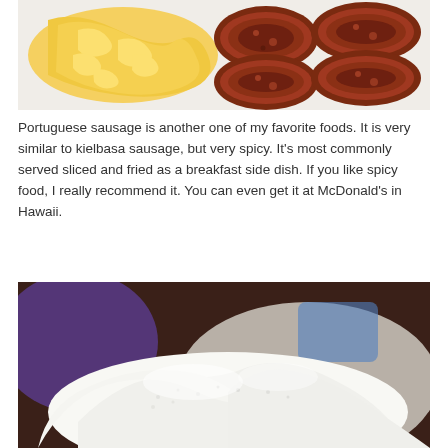[Figure (photo): Plate of scrambled eggs on the left and sliced fried Portuguese sausage on the right, browned and caramelized, on a white plate.]
Portuguese sausage is another one of my favorite foods.  It is very similar to kielbasa sausage, but very spicy.  It's most commonly served sliced and fried as a breakfast side dish.  If you like spicy food, I really recommend it.  You can even get it at McDonald's in Hawaii.
[Figure (photo): Close-up of white rice or a white fluffy steamed bun/bread on a plate, with a blurred colorful background.]